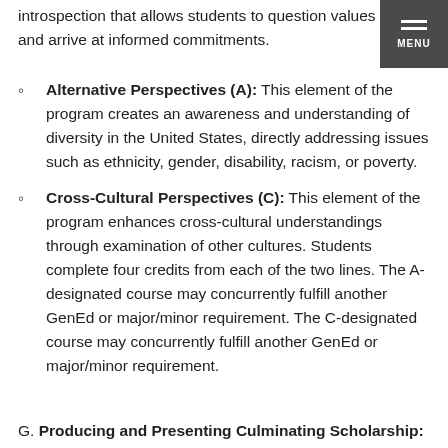introspection that allows students to question values and arrive at informed commitments.
Alternative Perspectives (A): This element of the program creates an awareness and understanding of diversity in the United States, directly addressing issues such as ethnicity, gender, disability, racism, or poverty.
Cross-Cultural Perspectives (C): This element of the program enhances cross-cultural understandings through examination of other cultures. Students complete four credits from each of the two lines. The A-designated course may concurrently fulfill another GenEd or major/minor requirement. The C-designated course may concurrently fulfill another GenEd or major/minor requirement.
G. Producing and Presenting Culminating Scholarship: